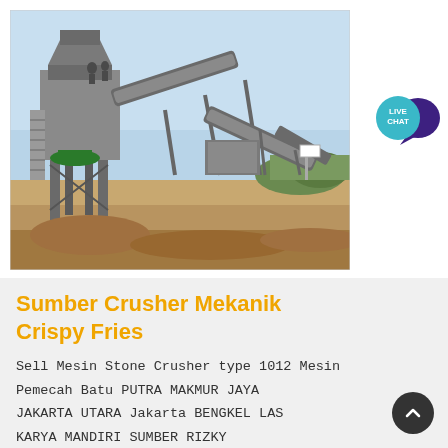[Figure (photo): Outdoor industrial stone crusher plant with conveyor belts, metal framework, stairs, and machinery on a dry earthen construction site under blue sky.]
[Figure (infographic): Live Chat speech bubble badge in teal and dark purple colors with white text 'LIVE CHAT'.]
Sumber Crusher Mekanik Crispy Fries
Sell Mesin Stone Crusher type 1012 Mesin Pemecah Batu PUTRA MAKMUR JAYA JAKARTA UTARA Jakarta BENGKEL LAS KARYA MANDIRI SUMBER RIZKY KONSTRUKSI